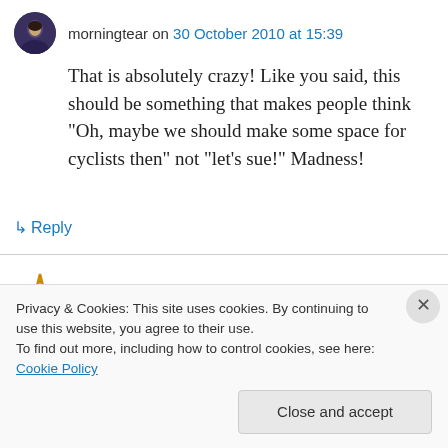morningtear on 30 October 2010 at 15:39
That is absolutely crazy! Like you said, this should be something that makes people think “Oh, maybe we should make some space for cyclists then” not “let’s sue!” Madness!
↳ Reply
AR Sabir on 30 October 2010 at 15:50
A lawsuit against a four year old, has the society
Privacy & Cookies: This site uses cookies. By continuing to use this website, you agree to their use.
To find out more, including how to control cookies, see here: Cookie Policy
Close and accept